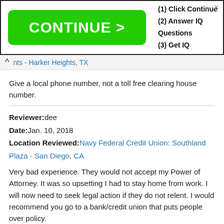[Figure (screenshot): Advertisement banner with green CONTINUE > button and text: (1) Click Continue, (2) Answer IQ Questions, (3) Get IQ]
nts - Harker Heights, TX
Give a local phone number, not a toll free clearing house number.
Reviewer: dee
Date: Jan. 10, 2018
Location Reviewed: Navy Federal Credit Union: Southland Plaza - San Diego, CA
Very bad experience. They would not accept my Power of Attorney. It was so upsetting I had to stay home from work. I will now need to seek legal action if they do not relent. I would recommend you go to a bank/credit union that puts people over policy.
1/10 ★
Reviewer: Anonymous User